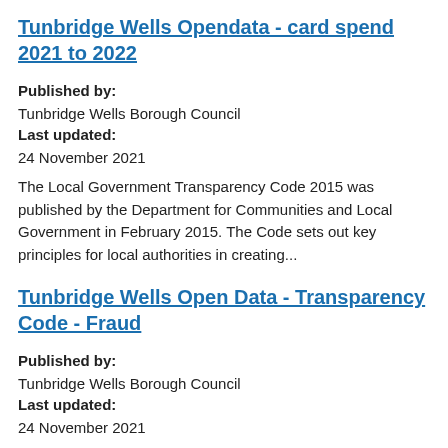Tunbridge Wells Opendata - card spend 2021 to 2022
Published by:
Tunbridge Wells Borough Council
Last updated:
24 November 2021
The Local Government Transparency Code 2015 was published by the Department for Communities and Local Government in February 2015. The Code sets out key principles for local authorities in creating...
Tunbridge Wells Open Data - Transparency Code - Fraud
Published by:
Tunbridge Wells Borough Council
Last updated:
24 November 2021